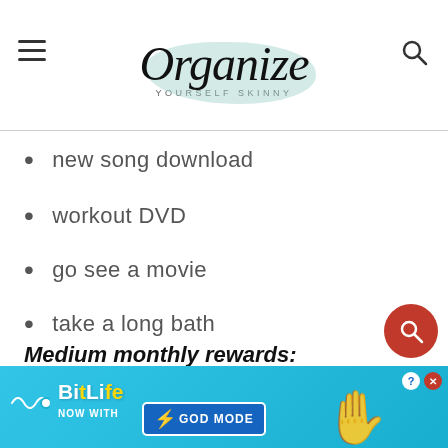Organize Yourself Skinny
new song download
workout DVD
go see a movie
take a long bath
Medium monthly rewards:
[Figure (advertisement): BitLife – Now With GOD MODE advertisement banner with blue background, lightning bolt, and pointing hand graphic]